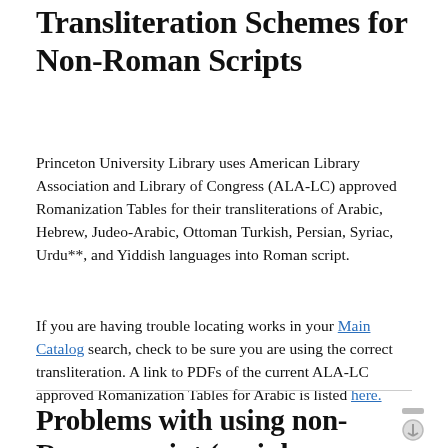Transliteration Schemes for Non-Roman Scripts
Princeton University Library uses American Library Association and Library of Congress (ALA-LC) approved Romanization Tables for their transliterations of Arabic, Hebrew, Judeo-Arabic, Ottoman Turkish, Persian, Syriac, Urdu**, and Yiddish languages into Roman script.
If you are having trouble locating works in your Main Catalog search, check to be sure you are using the correct transliteration. A link to PDFs of the current ALA-LC approved Romanization Tables for Arabic is listed here.
Problems with using non-Roman script (mainly Arabic) when